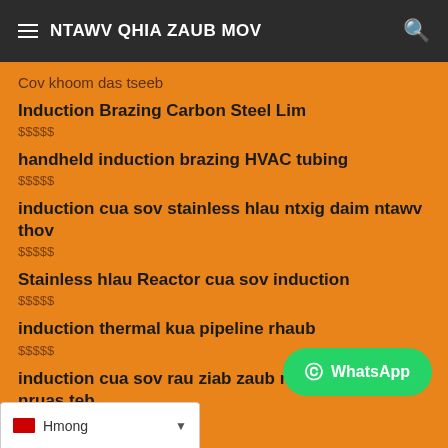NTAWV QHIA ZAUB MOV
Cov khoom das tseeb
Induction Brazing Carbon Steel Lim
$$$$$
handheld induction brazing HVAC tubing
$$$$$
induction cua sov stainless hlau ntxig daim ntawv thov
$$$$$
Stainless hlau Reactor cua sov induction
$$$$$
induction thermal kua pipeline rhaub
$$$$$
induction cua sov rau ziab zaub mov hauv lub nruas teb
$$$$$